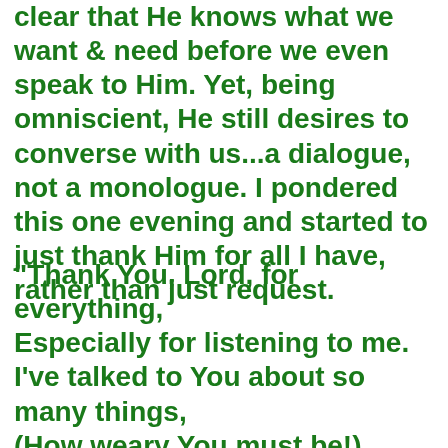clear that He knows what we want & need before we even speak to Him. Yet, being omniscient, He still desires to converse with us...a dialogue, not a monologue. I pondered this one evening and started to just thank Him for all I have, rather than just request.
"Thank You, Lord, for everything, Especially for listening to me. I've talked to You about so many things, (How weary You must be!) I know that always, in my prayers, I repeat almost all that I say, And yet I know that You will listen To me, whenever I pray. Thank You for the love, dear Lord, That I know You have for me;